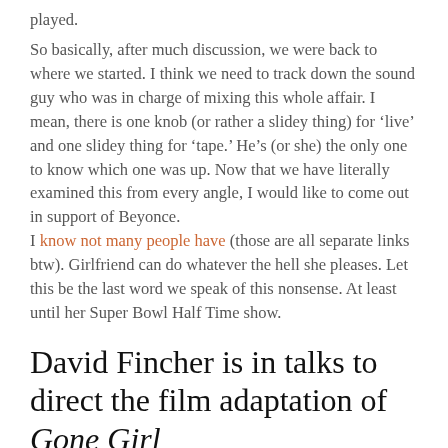played.
So basically, after much discussion, we were back to where we started.  I think we need to track down the sound guy who was in charge of mixing this whole affair.  I mean, there is one knob (or rather a slidey thing) for ‘live’ and one slidey thing for ‘tape.’  He’s (or she) the only one to know which one was up.  Now that we have literally examined this from every angle, I would like to come out in support of Beyonce.
 I know not many people have (those are all separate links btw).  Girlfriend can do whatever the hell she pleases.  Let this be the last word we speak of this nonsense.  At least until her Super Bowl Half Time show.
David Fincher is in talks to direct the film adaptation of Gone Girl